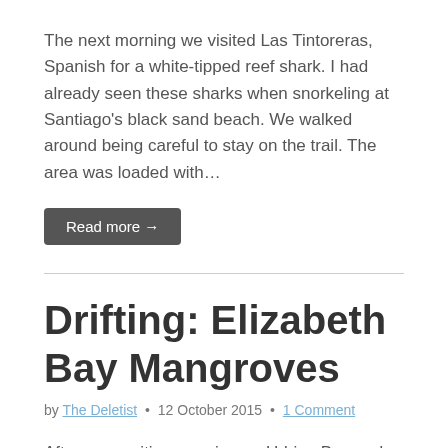The next morning we visited Las Tintoreras, Spanish for a white-tipped reef shark. I had already seen these sharks when snorkeling at Santiago's black sand beach. We walked around being careful to stay on the trail. The area was loaded with…
Read more →
Drifting: Elizabeth Bay Mangroves
by The Deletist • 12 October 2015 • 1 Comment
After our exciting morning on Urbina Bay and dolphin wrangling, we spent the afternoon in the Elizabeth Bay Mangroves…